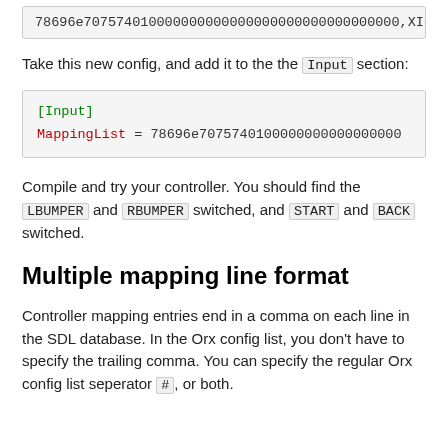78696e707574010000000000000000000000000000000,XInput Ga
Take this new config, and add it to the the Input section:
[Input]
MappingList = 78696e7075740100000000000000000
Compile and try your controller. You should find the LBUMPER and RBUMPER switched, and START and BACK switched.
Multiple mapping line format
Controller mapping entries end in a comma on each line in the SDL database. In the Orx config list, you don't have to specify the trailing comma. You can specify the regular Orx config list seperator #, or both.